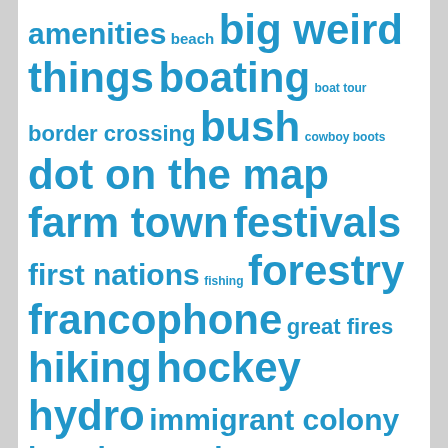[Figure (infographic): Tag cloud with travel/tourism/regional keywords in varying sizes in blue. Terms include: amenities, beach, big weird things, boating, boat tour, border crossing, bush, cowboy boots, dot on the map, farm town, festivals, first nations, fishing, forestry, francophone, great fires, hiking, hockey, hydro, immigrant colony, jews, locomotive, mennonites, military, mining, murals, outfitting, pita pit, provincial parks, pulp and paper, railway, streetcars, the suburbs, touristy stuff, waterfront, woodpile]